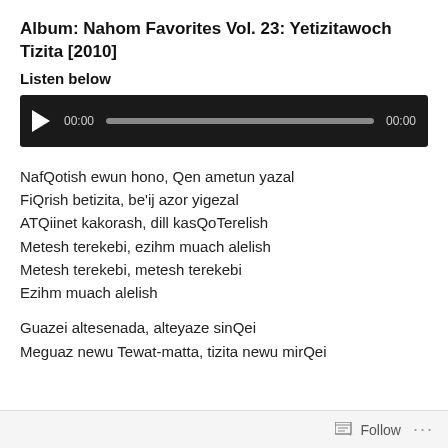Album: Nahom Favorites Vol. 23: Yetizitawoch Tizita [2010]
Listen below
[Figure (other): Audio player with play button, time counter showing 00:00, progress bar, and end time 00:00]
NafQotish ewun hono, Qen ametun yazal
FiQrish betizita, be'ij azor yigezal
ATQiinet kakorash, dill kasQoTerelish
Metesh terekebi, ezihm muach alelish
Metesh terekebi, metesh terekebi
Ezihm muach alelish
Guazei altesenada, alteyaze sinQei
Meguaz newu Tewat-matta, tizita newu mirQei
Follow